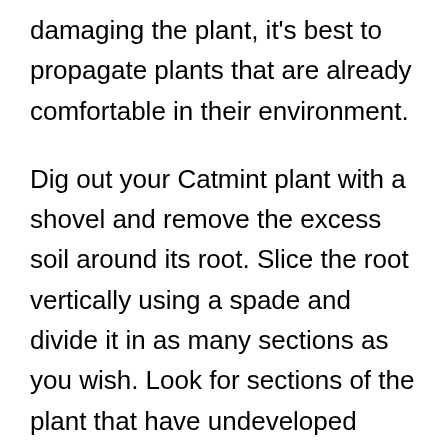damaging the plant, it's best to propagate plants that are already comfortable in their environment.
Dig out your Catmint plant with a shovel and remove the excess soil around its root. Slice the root vertically using a spade and divide it in as many sections as you wish. Look for sections of the plant that have undeveloped shoots, as these are the most effective to propagate. Plant your divisions in fresh, well-drained ground soil and water them regularly until they settle in.
If you do not want to pay for another round of